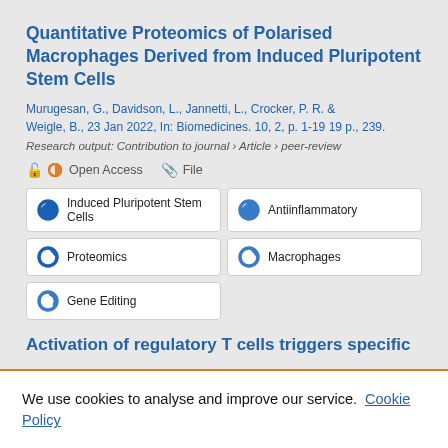Quantitative Proteomics of Polarised Macrophages Derived from Induced Pluripotent Stem Cells
Murugesan, G., Davidson, L., Jannetti, L., Crocker, P. R. & Weigle, B., 23 Jan 2022, In: Biomedicines. 10, 2, p. 1-19 19 p., 239.
Research output: Contribution to journal › Article › peer-review
Open Access   File
Induced Pluripotent Stem Cells
Antiinflammatory
Proteomics
Macrophages
Gene Editing
Activation of regulatory T cells triggers specific
We use cookies to analyse and improve our service. Cookie Policy